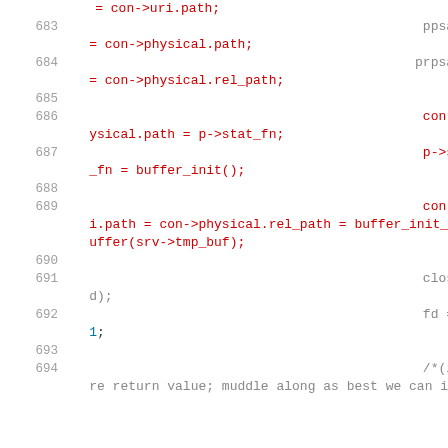= con->uri.path;
683    ppsave = con->physical.path;
684    prpsave = con->physical.rel_path;
685
686    con->physical.path = p->stat_fn;
687    p->stat_fn = buffer_init();
688
689    con->uri.path = con->physical.rel_path = buffer_init_buffer(srv->tmp_buf);
690
691    close(fd);
692    fd = -1;
693
694    /*(ignore return value; muddle along as best we can if